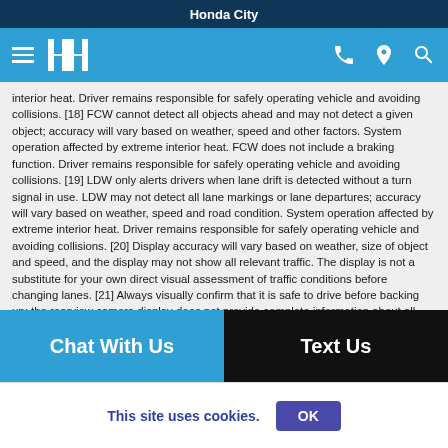Honda City
[Figure (screenshot): Navigation bar with hamburger menu, Honda logo, phone icon, location pin icon, and search icon on blue background]
interior heat. Driver remains responsible for safely operating vehicle and avoiding collisions. [18] FCW cannot detect all objects ahead and may not detect a given object; accuracy will vary based on weather, speed and other factors. System operation affected by extreme interior heat. FCW does not include a braking function. Driver remains responsible for safely operating vehicle and avoiding collisions. [19] LDW only alerts drivers when lane drift is detected without a turn signal in use. LDW may not detect all lane markings or lane departures; accuracy will vary based on weather, speed and road condition. System operation affected by extreme interior heat. Driver remains responsible for safely operating vehicle and avoiding collisions. [20] Display accuracy will vary based on weather, size of object and speed, and the display may not show all relevant traffic. The display is not a substitute for your own direct visual assessment of traffic conditions before changing lanes. [21] Always visually confirm that it is safe to drive before backing up; the rearview camera display does not provide complete information about all conditions and objects at the rear of your vehicle. [22] VSA is not a substitute for safe driving. It cannot correct the vehicle's course in every situation or compensate for reckless driving. Control of the vehicle always remains with the driver. [23] For activation process and confirmation...
Chat With Us
Text Us
This site uses cookies.